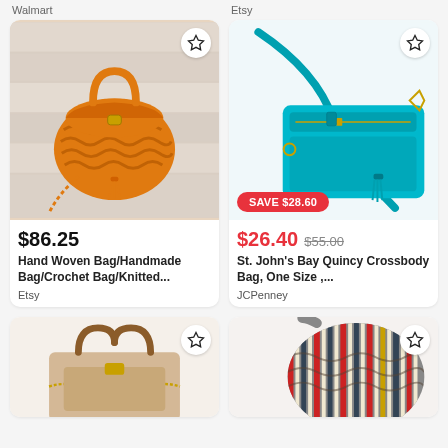Walmart
Etsy
[Figure (photo): Orange crocheted/knitted handbag with tassel and chain strap on white wood background]
$86.25
Hand Woven Bag/Handmade Bag/Crochet Bag/Knitted...
Etsy
[Figure (photo): Teal/turquoise crossbody bag with tassel and gold hardware on white background]
SAVE $28.60
$26.40  $55.00
St. John's Bay Quincy Crossbody Bag, One Size ,...
JCPenney
[Figure (photo): Beige/gold structured handbag with brown handles and chain accents (partially visible)]
[Figure (photo): Multicolor striped woven shoulder bag (partially visible)]